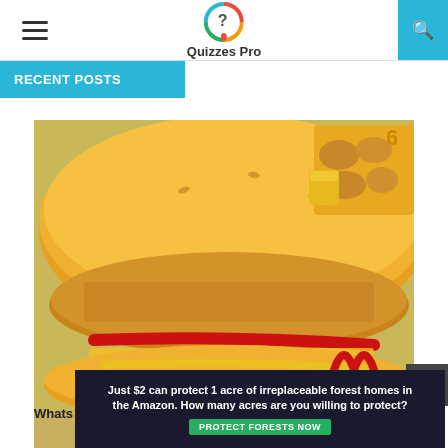Quizzes Pro
RECENT POSTS
[Figure (photo): McDonald's cheeseburger with crispy chicken patty, cheese, ketchup and mustard on a bun, with 6-piece McNuggets and dipping sauce in background. CHEESEBURGER wrapper visible.]
Whats worse Mcdonalds chicken nuggets or cheeseburge...
[Figure (infographic): Advertisement banner: Just $2 can protect 1 acre of irreplaceable forest homes in the Amazon. How many acres are you willing to protect? PROTECT FORESTS NOW button.]